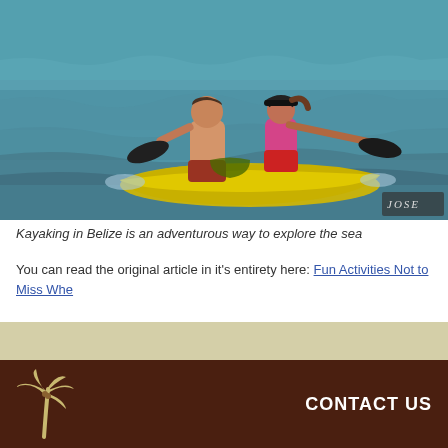[Figure (photo): Two people kayaking in the sea on a yellow tandem kayak, viewed from behind. A man on the left without shirt and a woman in pink top and red shorts, both holding paddles. Turquoise ocean water background. Watermark reads 'JOSE' in lower right corner.]
Kayaking in Belize is an adventurous way to explore the sea
You can read the original article in it's entirety here: Fun Activities Not to Miss Whe...
CONTACT US